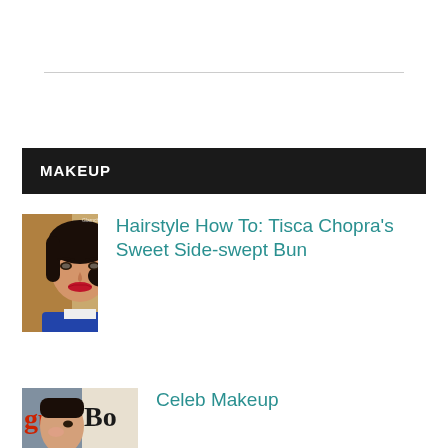MAKEUP
[Figure (photo): Thumbnail photo of a woman with dark hair in a bun, red lips, wearing a blue top, against a warm background]
Hairstyle How To: Tisca Chopra's Sweet Side-swept Bun
[Figure (photo): Partial thumbnail showing a woman's face near a magazine/Bo logo text]
Celeb Makeup